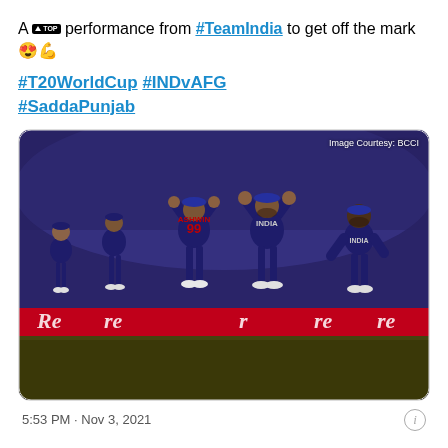A 🔝 performance from #TeamIndia to get off the mark 😍💪
#T20WorldCup #INDvAFG #SaddaPunjab
[Figure (photo): Indian cricket team players high-fiving on the field; Ashwin (jersey #99) and another player in blue India jerseys celebrating. Image courtesy: BCCI]
5:53 PM · Nov 3, 2021